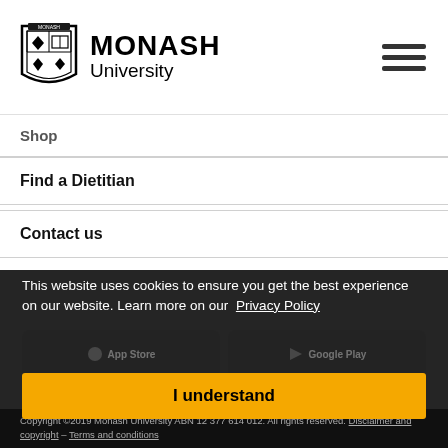[Figure (logo): Monash University logo with crest and text]
Shop
Find a Dietitian
Contact us
This website uses cookies to ensure you get the best experience on our website. Learn more on our Privacy Policy
I understand
Copyright ©2019 Monash University ABN 12 377 614 012. All rights reserved. Disclaimer and copyright – Terms and conditions